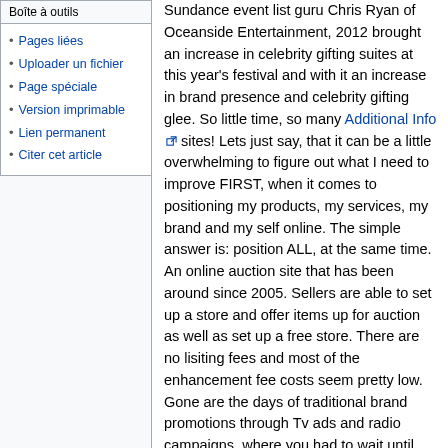Boîte à outils
Pages liées
Uploader un fichier
Page spéciale
Version imprimable
Lien permanent
Citer cet article
Sundance event list guru Chris Ryan of Oceanside Entertainment, 2012 brought an increase in celebrity gifting suites at this year's festival and with it an increase in brand presence and celebrity gifting glee. So little time, so many Additional Info sites! Lets just say, that it can be a little overwhelming to figure out what I need to improve FIRST, when it comes to positioning my products, my services, my brand and my self online. The simple answer is: position ALL, at the same time. An online auction site that has been around since 2005. Sellers are able to set up a store and offer items up for auction as well as set up a free store. There are no lisiting fees and most of the enhancement fee costs seem pretty low. Gone are the days of traditional brand promotions through Tv ads and radio campaigns, where you had to wait until the end of the sales quarter to see if your efforts had any effect. Gone are the days of guessing whether it was your billboards or the Tv spots that resulted in the most sales. With digital